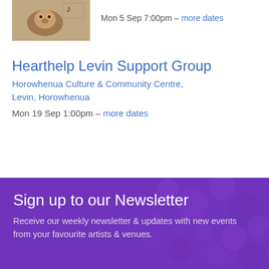[Figure (photo): Thumbnail photo of an animal (appears to be a dog or similar)]
Mon  5 Sep 7:00pm  – more dates
Hearthelp Levin Support Group
Horowhenua Culture & Community Centre, Levin, Horowhenua
Mon 19 Sep 1:00pm  – more dates
Sign up to our Newsletter
Receive our weekly newsletter & updates with new events from your favourite artists & venues.